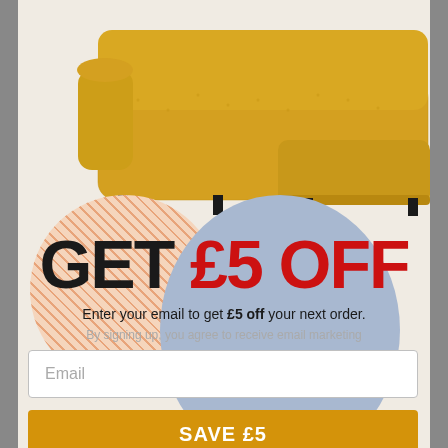[Figure (photo): Yellow/mustard boucle fabric L-shaped sectional sofa on a cream background]
GET £5 OFF
Enter your email to get £5 off your next order.
By signing up, you agree to receive email marketing
Email
SAVE £5